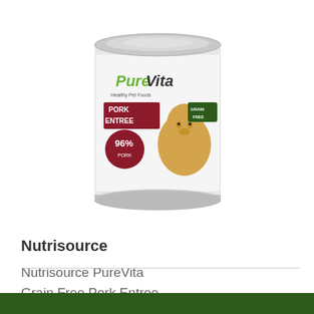[Figure (photo): A can of Nutrisource PureVita Grain Free Pork Entree dog food, with a golden retriever pictured on the label, 96% label visible, grain free badge]
Nutrisource
Nutrisource PureVita Grain Free Pork Entree